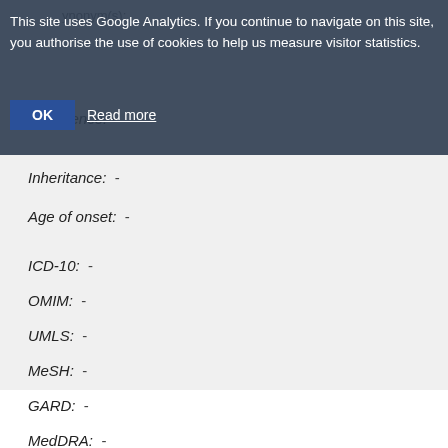ynonym(s):
This site uses Google Analytics. If you continue to navigate on this site, you authorise the use of cookies to help us measure visitor statistics.
OK  Read more
Prevalence:  -
Inheritance:  -
Age of onset:  -
ICD-10:  -
OMIM:  -
UMLS:  -
MeSH:  -
GARD:  -
MedDRA:  -